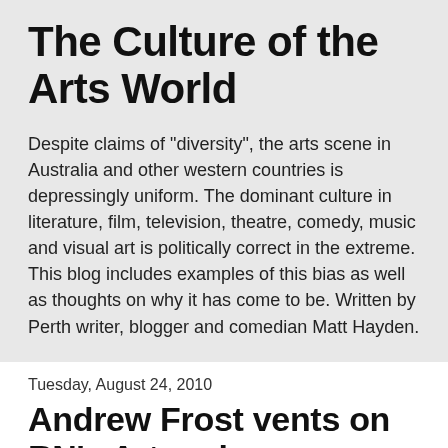The Culture of the Arts World
Despite claims of "diversity", the arts scene in Australia and other western countries is depressingly uniform. The dominant culture in literature, film, television, theatre, comedy, music and visual art is politically correct in the extreme. This blog includes examples of this bias as well as thoughts on why it has come to be. Written by Perth writer, blogger and comedian Matt Hayden.
Tuesday, August 24, 2010
Andrew Frost vents on RN's Artworks
If you want an illustration of the sneering nihilism that's de rigueur in Australia's arts world, then you can't go past a recent, hilarious gargle by trendy presenter Andrew Frost.